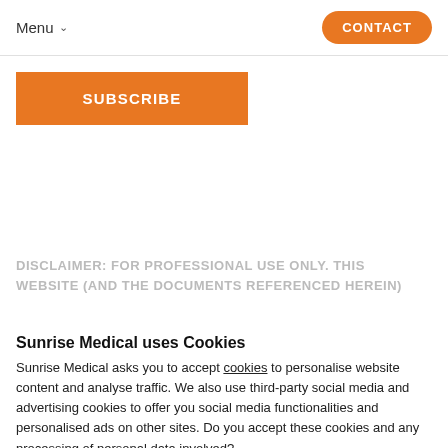Menu  CONTACT
SUBSCRIBE
DISCLAIMER: FOR PROFESSIONAL USE ONLY. THIS WEBSITE (AND THE DOCUMENTS REFERENCED HEREIN)
Sunrise Medical uses Cookies
Sunrise Medical asks you to accept cookies to personalise website content and analyse traffic. We also use third-party social media and advertising cookies to offer you social media functionalities and personalised ads on other sites. Do you accept these cookies and any processing of personal data involved?
CHANGE SETTINGS
YES, I ACCEPT